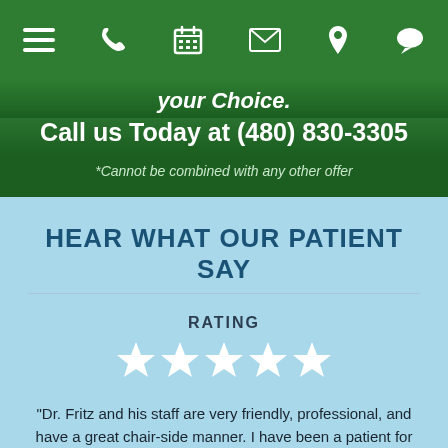Navigation bar with menu, phone, calendar, email, location, and chat icons
your Choice.
Call us Today at (480) 830-3305
*Cannot be combined with any other offer
HEAR WHAT OUR PATIENT SAY
RATING
[Figure (other): Five white star rating icons]
"Dr. Fritz and his staff are very friendly, professional, and have a great chair-side manner. I have been a patient for 10+ years and have had root canals, orthodontist work, and regular exams with no issues.